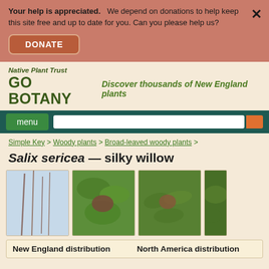Your help is appreciated. We depend on donations to help keep this site free and up to date for you. Can you please help us?
DONATE
Native Plant Trust GO BOTANY — Discover thousands of New England plants
menu
Simple Key > Woody plants > Broad-leaved woody plants >
Salix sericea — silky willow
[Figure (photo): Photo of Salix sericea plant - thin branches]
[Figure (photo): Photo of Salix sericea plant - leaves and flower]
[Figure (photo): Photo of Salix sericea plant - leaves close up]
[Figure (photo): Photo of Salix sericea - partial view]
New England distribution
North America distribution